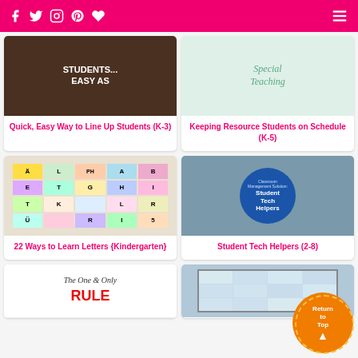Navigation bar with social icons and menu
[Figure (photo): Dark background image with text 'STUDENTS... EASY AS' in white bold letters]
Quick, Easy Way to Line Up Students (K-3)
[Figure (photo): Light green striped background with cursive text 'Special Teaching']
Keeping Resource Students on Schedule (K-5)
[Figure (photo): Colorful alphabet tiles grid showing letters on colored paper squares]
22 Ways to Learn Letters {Kindergarten}
[Figure (photo): Blue circle on gray background with text 'Classroom Management Solution: Student Tech Helpers']
Student Tech Helpers (2-8)
[Figure (photo): Partial view of image with text 'The One & Only RULE']
[Figure (photo): Partial view of classroom/window image]